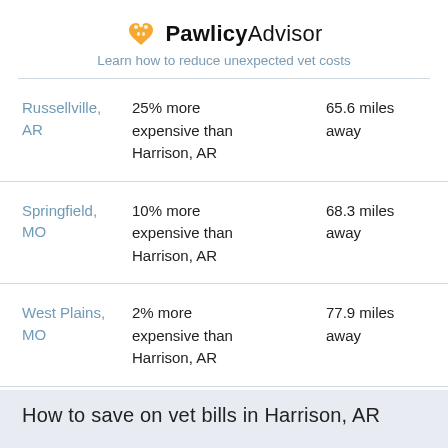PawlicyAdvisor — Learn how to reduce unexpected vet costs
| City | Cost Comparison | Distance |
| --- | --- | --- |
| Russellville, AR | 25% more expensive than Harrison, AR | 65.6 miles away |
| Springfield, MO | 10% more expensive than Harrison, AR | 68.3 miles away |
| West Plains, MO | 2% more expensive than Harrison, AR | 77.9 miles away |
How to save on vet bills in Harrison, AR